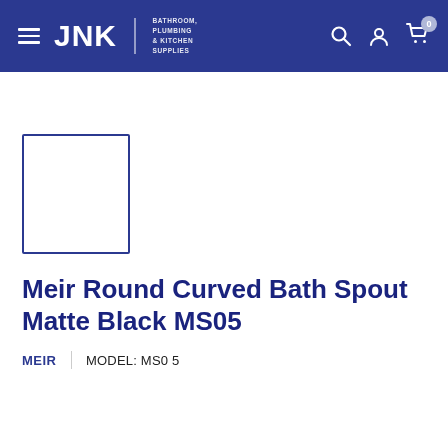JNK Bathroom, Plumbing & Kitchen Supplies
[Figure (photo): Small product thumbnail placeholder box with dark blue border, empty white interior]
Meir Round Curved Bath Spout Matte Black MS05
MEIR | MODEL: MS0 5